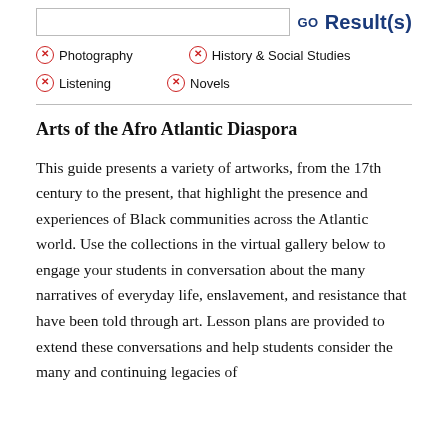GO  Result(s)
Photography
History & Social Studies
Listening
Novels
Arts of the Afro Atlantic Diaspora
This guide presents a variety of artworks, from the 17th century to the present, that highlight the presence and experiences of Black communities across the Atlantic world. Use the collections in the virtual gallery below to engage your students in conversation about the many narratives of everyday life, enslavement, and resistance that have been told through art. Lesson plans are provided to extend these conversations and help students consider the many and continuing legacies of